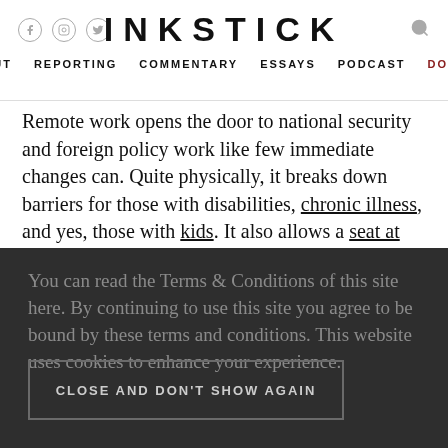INKSTICK
ABOUT   REPORTING   COMMENTARY   ESSAYS   PODCAST   DONATE
Remote work opens the door to national security and foreign policy work like few immediate changes can. Quite physically, it breaks down barriers for those with disabilities, chronic illness, and yes, those with kids. It also allows a seat at the table for those who grow up outside the confines of the mostly-
You can read the Terms & Conditions of this site here. By continuing to use this site you agree to be bound by these terms and conditions. This website uses cookies to enhance your experience.
CLOSE AND DON'T SHOW AGAIN